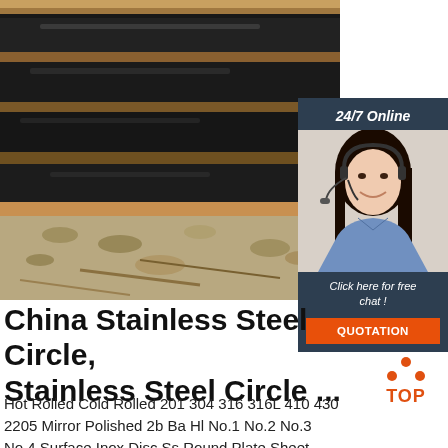[Figure (photo): Photo of stainless steel sheets/plates stacked horizontally, showing dark metallic surface with rust-colored edges visible]
[Figure (photo): 24/7 Online customer service panel with female agent wearing headset, with 'Click here for free chat!' text and orange QUOTATION button]
China Stainless Steel Circle, Stainless Steel Circle ...
Hot Rolled Cold Rolled 201 304 316 316L 410 430 2205 Mirror Polished 2b Ba Hl No.1 No.2 No.3 No.4 Surface Inox Disc Ss Round Plate Sheet